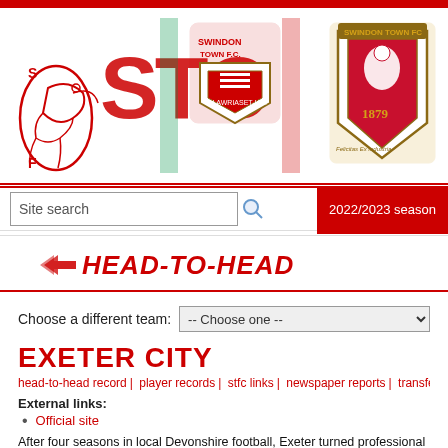[Figure (illustration): Swindon Town FC website header banner showing multiple club badges/crests and the SFC text logo in red and green on white background]
Site search
2022/2023 season
HEAD-TO-HEAD
Choose a different team:
EXETER CITY
head-to-head record | player records | stfc links | newspaper reports | transfers
External links:
Official site
After four seasons in local Devonshire football, Exeter turned professional and were a who had been elected to the Football League. The Grecians struggled against Swind all five games played in their opening two seasons, scoring fourteen goals in the proc the Town winning the Southern League championship, and they also ended Swindon
Both teams were elected to the League in the new Third Division in 1920, and both s dropping down to the lower level while Swindon remained in the Third. During this pe 1933, the Town winning 7-1 in 1940. Also, Swindon legend Harry Morris played his